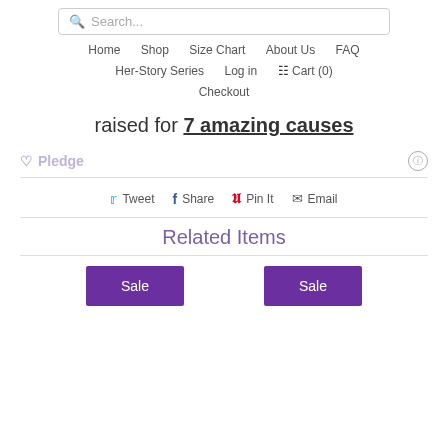Search...
Home  Shop  Size Chart  About Us  FAQ
Her-Story Series  Log in  Cart (0)
Checkout
raised for 7 amazing causes
♡ Pledge
Tweet  Share  Pin It  Email
Related Items
Sale  Sale